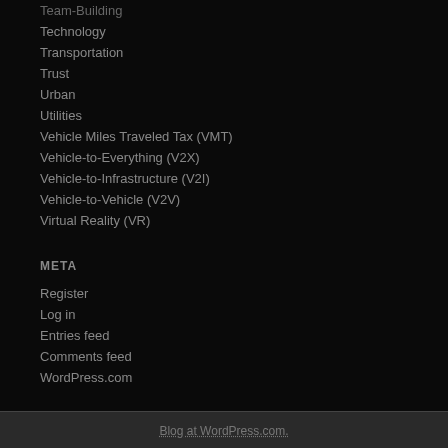Team-Building
Technology
Transportation
Trust
Urban
Utilities
Vehicle Miles Traveled Tax (VMT)
Vehicle-to-Everything (V2X)
Vehicle-to-Infrastructure (V2I)
Vehicle-to-Vehicle (V2V)
Virtual Reality (VR)
META
Register
Log in
Entries feed
Comments feed
WordPress.com
Blog at WordPress.com.